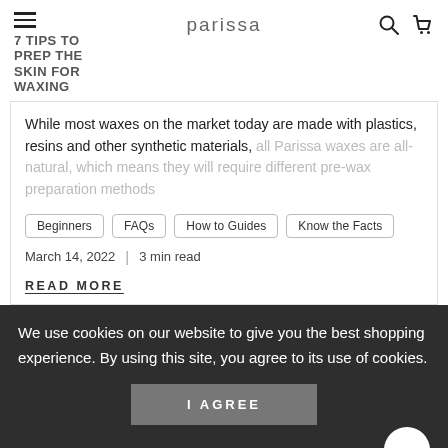7 TIPS TO PREP THE SKIN FOR WAXING | parissa
While most waxes on the market today are made with plastics, resins and other synthetic materials, all Parissa waxes are all-natural, which means they will require different pre-wax preparation methods
Beginners
FAQs
How to Guides
Know the Facts
March 14, 2022  |  3 min read
READ MORE
We use cookies on our website to give you the best shopping experience. By using this site, you agree to its use of cookies.